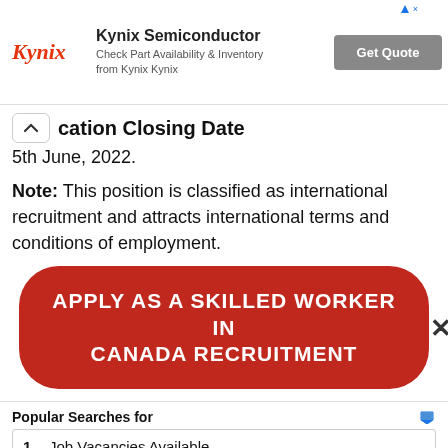[Figure (screenshot): Kynix Semiconductor advertisement banner with logo, text 'Check Part Availability & Inventory from Kynix Kynix', and a 'Get Quote' button]
cation Closing Date
5th June, 2022.
Note: This position is classified as international recruitment and attracts international terms and conditions of employment.
[Figure (infographic): Red rounded button with white bold text: APPLY AS A SKILLED WORKER IN CANADA RECRUITMENT]
[Figure (screenshot): Yahoo sponsored search ad: Popular Searches for — 1 Job Vacancies Available, 2 Work From Home Jobs 2022]
Yahoo! Search | Sponsored